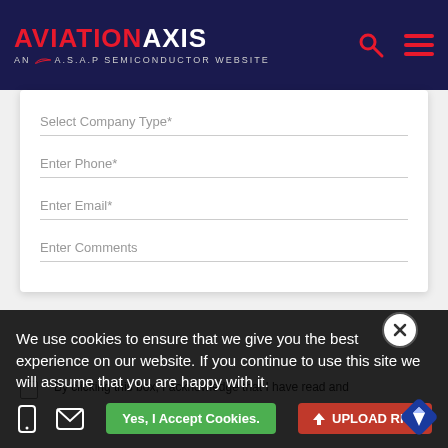AVIATION AXIS — AN A.S.A.P SEMICONDUCTOR WEBSITE
Select Company Type*
Enter Phone*
Enter Email*
Enter Comments
* By clicking this box, I acknowledge that I have read and
We use cookies to ensure that we give you the best experience on our website. If you continue to use this site we will assume that you are happy with it.
Yes, I Accept Cookies.
UPLOAD RFQ